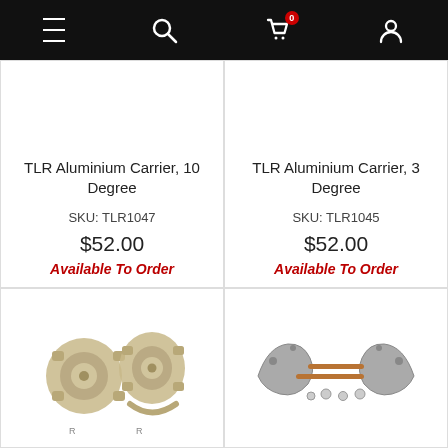Navigation bar with menu, search, cart (0), and account icons
TLR Aluminium Carrier, 10 Degree
SKU: TLR1047
$52.00
Available To Order
TLR Aluminium Carrier, 3 Degree
SKU: TLR1045
$52.00
Available To Order
[Figure (photo): Two aluminium carrier parts for RC car, silver/gold metallic finish]
[Figure (photo): RC car parts set: two curved carrier brackets, two rods, and small hardware pieces]